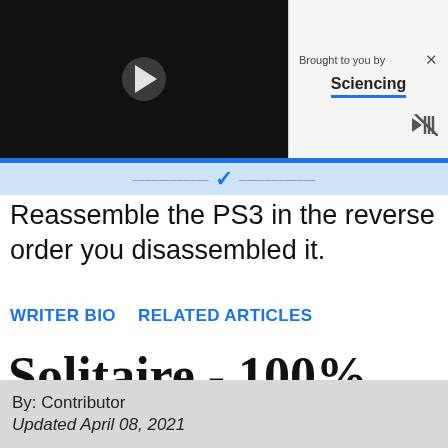[Figure (screenshot): Video player with black background and white play button triangle in center]
Brought to you by Sciencing
Reassemble the PS3 in the reverse order you disassembled it.
WRITER BIO    RELATED ARTICLES
Solitaire - 100% Free to Play Online
By: Contributor
Updated April 08, 2021